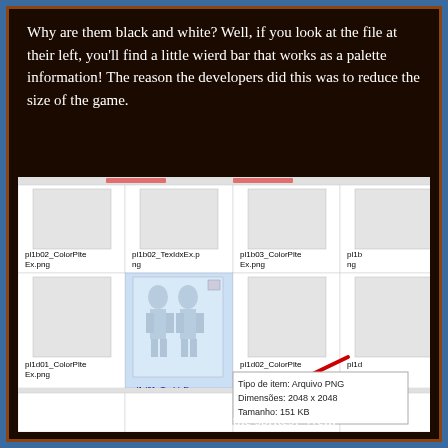Why are them black and white? Well, if you look at the file at their left, you'll find a little wierd bar that works as a palette information! The reason the developers did this was to reduce the size of the game.
[Figure (screenshot): Windows Explorer file grid showing game texture files (pl1b02_ColorPlteEx.png, pl1b02_TexIdxEx.png, pl1b03_ColorPlteEx.png, etc.) with a highlighted preview of pl1d01_TexIdxEx.png showing two character sprites, and a tooltip showing: Tipo de item: Arquivo PNG, Dimensões: 2048 x 2048, Tamanho: 151 KB. A red arrow points to the file.]
So how you put the color back on the sprites? Well,